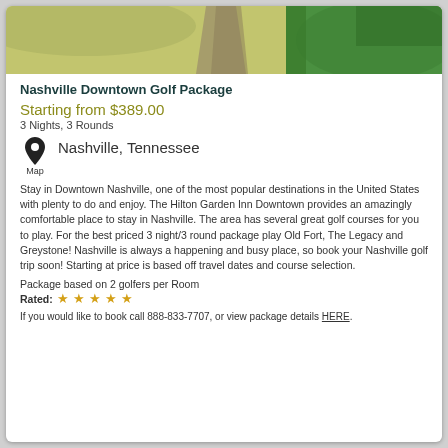[Figure (photo): Aerial view of a golf course showing fairway, sand trap path, and green grass]
Nashville Downtown Golf Package
Starting from $389.00
3 Nights, 3 Rounds
Nashville, Tennessee
Stay in Downtown Nashville, one of the most popular destinations in the United States with plenty to do and enjoy. The Hilton Garden Inn Downtown provides an amazingly comfortable place to stay in Nashville. The area has several great golf courses for you to play. For the best priced 3 night/3 round package play Old Fort, The Legacy and Greystone! Nashville is always a happening and busy place, so book your Nashville golf trip soon! Starting at price is based off travel dates and course selection.
Package based on 2 golfers per Room
Rated: ★★★★★
If you would like to book call 888-833-7707, or view package details HERE.